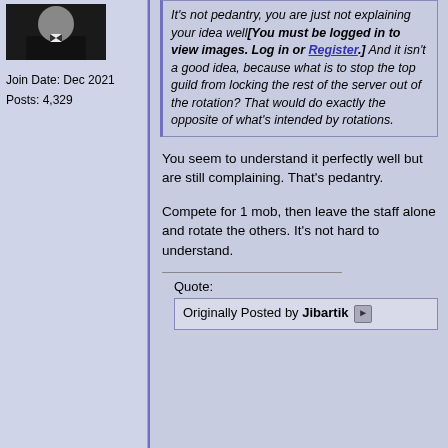[Figure (photo): Avatar image of a person in a tuxedo/dark suit]
Join Date: Dec 2021
Posts: 4,329
It's not pedantry, you are just not explaining your idea well[You must be logged in to view images. Log in or Register.] And it isn't a good idea, because what is to stop the top guild from locking the rest of the server out of the rotation? That would do exactly the opposite of what's intended by rotations.
You seem to understand it perfectly well but are still complaining. That's pedantry.
Compete for 1 mob, then leave the staff alone and rotate the others. It's not hard to understand.
Quote:
Originally Posted by Jibartik